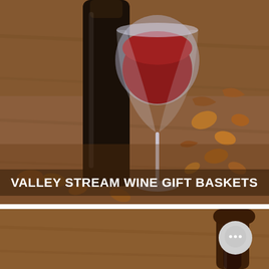[Figure (photo): Photo of a dark wine bottle and a filled red wine glass on a wooden surface with scattered walnut shells and nuts in the background]
VALLEY STREAM WINE GIFT BASKETS
[Figure (photo): Partial photo of a wine bottle on a wooden surface, with a chat bubble icon overlay in the top right corner]